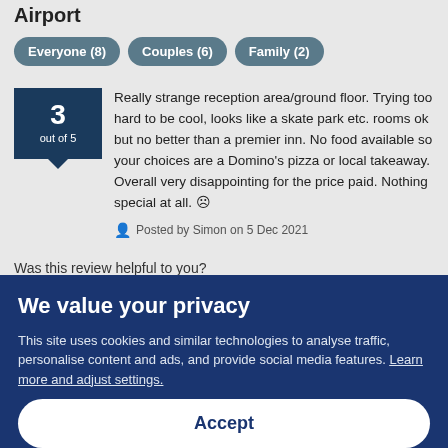Airport
Everyone (8)
Couples (6)
Family (2)
Really strange reception area/ground floor. Trying too hard to be cool, looks like a skate park etc. rooms ok but no better than a premier inn. No food available so your choices are a Domino's pizza or local takeaway. Overall very disappointing for the price paid. Nothing special at all. ☹ Posted by Simon on 5 Dec 2021
Was this review helpful to you?
Yes: 0
We value your privacy
This site uses cookies and similar technologies to analyse traffic, personalise content and ads, and provide social media features. Learn more and adjust settings.
Accept